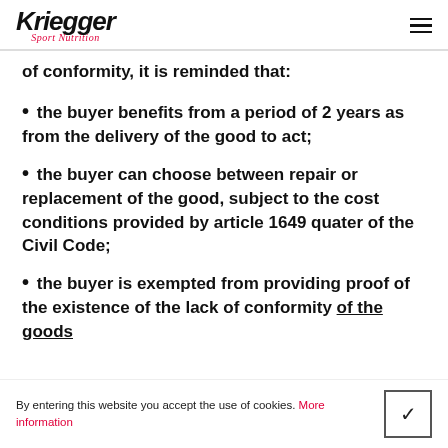Kriegger Sport Nutrition
of conformity, it is reminded that:
the buyer benefits from a period of 2 years as from the delivery of the good to act;
the buyer can choose between repair or replacement of the good, subject to the cost conditions provided by article 1649 quater of the Civil Code;
the buyer is exempted from providing proof of the existence of the lack of conformity of the goods
By entering this website you accept the use of cookies. More information